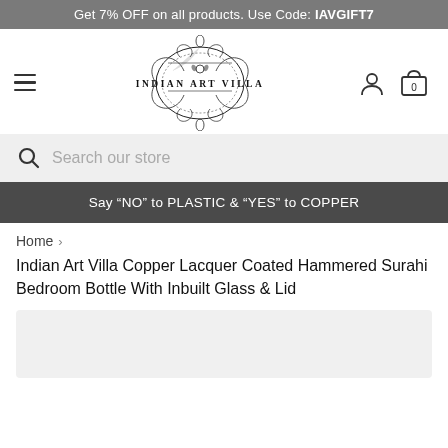Get 7% OFF on all products. Use Code: IAVGIFT7
[Figure (logo): Indian Art Villa ornate logo with decorative flourishes and text 'INDIAN ART VILLA']
Search our store
Say “NO” to PLASTIC & “YES” to COPPER
Home > Indian Art Villa Copper Lacquer Coated Hammered Surahi Bedroom Bottle With Inbuilt Glass & Lid